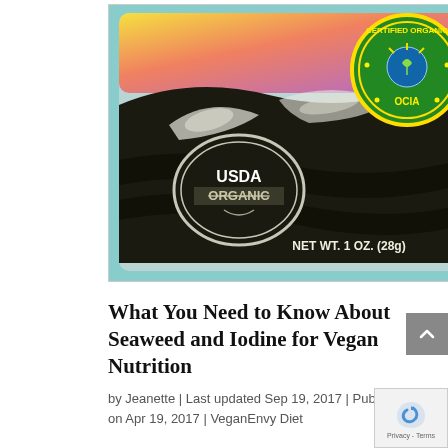[Figure (photo): Photo of a seaweed package with 'USDA ORGANIC' seal on the left and 'CERTIFIED ORGANIC OCIA' badge on the upper right. The package shows a dark wave/seaweed graphic on a dark background with white speckles. Text reads 'NET WT. 1 OZ. (28g)' at the bottom. The packaging has a teal/cyan border edge.]
What You Need to Know About Seaweed and Iodine for Vegan Nutrition
by Jeanette | Last updated Sep 19, 2017 | Published on Apr 19, 2017 | VeganEnvy Diet